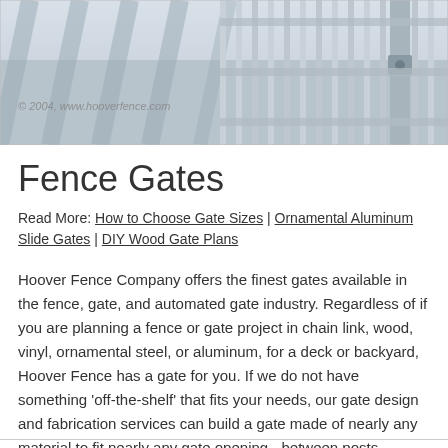[Figure (photo): Photograph of ornamental metal fence gate with vertical bars casting shadows, with copyright text overlay reading '© 2004, www.hooverfence.com']
Fence Gates
Read More: How to Choose Gate Sizes | Ornamental Aluminum Slide Gates | DIY Wood Gate Plans
Hoover Fence Company offers the finest gates available in the fence, gate, and automated gate industry. Regardless of if you are planning a fence or gate project in chain link, wood, vinyl, ornamental steel, or aluminum, for a deck or backyard, Hoover Fence has a gate for you. If we do not have something 'off-the-shelf' that fits your needs, our gate design and fabrication services can build a gate made of nearly any material to fit nearly any gate opening - between posts, masonry